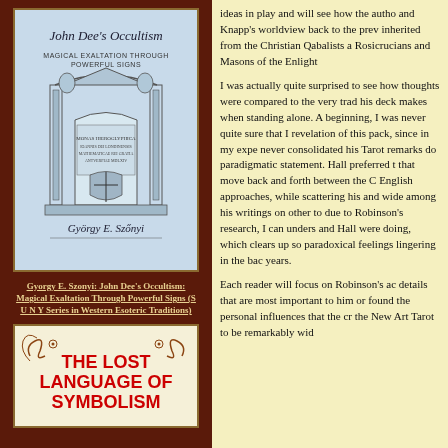[Figure (illustration): Book cover of John Dee's Occultism: Magical Exaltation Through Powerful Signs by György E. Szőnyi, showing an architectural engraving with classical columns and a crest]
Gyorgy E. Szonyi: John Dee's Occultism: Magical Exaltation Through Powerful Signs (S U N Y Series in Western Esoteric Traditions)
[Figure (illustration): Book cover of The Lost Language of Symbolism with red bold title text on a cream background with decorative flourishes]
ideas in play and will see how the author and Knapp's worldview back to the prev inherited from the Christian Qabalists a Rosicrucians and Masons of the Enlight
I was actually quite surprised to see how thoughts were compared to the very trad his deck makes when standing alone. A beginning, I was never quite sure that I revelation of this pack, since in my expe never consolidated his Tarot remarks do paradigmatic statement. Hall preferred t that move back and forth between the C English approaches, while scattering his and wide among his writings on other to due to Robinson's research, I can unders and Hall were doing, which clears up so paradoxical feelings lingering in the bac years.
Each reader will focus on Robinson's ac details that are most important to him or found the personal influences that the cr the New Art Tarot to be remarkably wid